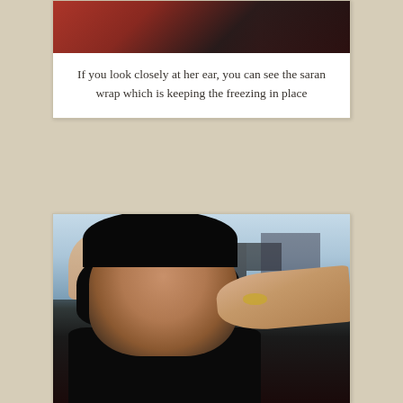[Figure (photo): Top portion of a photo showing a close-up of a child's ear with saran wrap keeping freezing in place, on white card background]
If you look closely at her ear, you can see the saran wrap which is keeping the freezing in place
[Figure (photo): A young girl with dark hair wearing a black shirt and pink/red tulle skirt sitting in what appears to be a salon or store, with an adult's hand near her ear, likely getting her ears pierced]